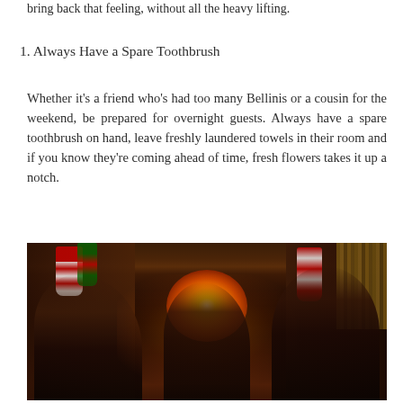bring back that feeling, without all the heavy lifting.
1. Always Have a Spare Toothbrush
Whether it's a friend who's had too many Bellinis or a cousin for the weekend, be prepared for overnight guests. Always have a spare toothbrush on hand, leave freshly laundered towels in their room and if you know they're coming ahead of time, fresh flowers takes it up a notch.
[Figure (photo): A warm, dimly lit room with a fireplace burning brightly. Christmas stockings hang above the mantle. Three people (silhouettes/partially lit) are gathered around the fire in a cozy holiday setting with wood-paneled walls and bookshelves.]